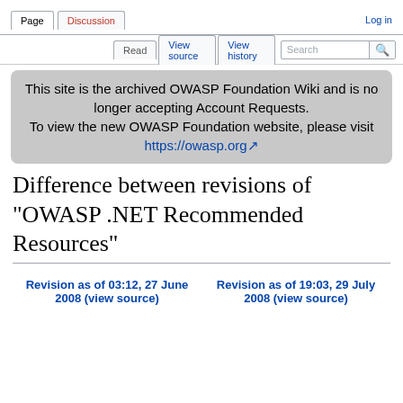Page  Discussion  Log in
Read  View source  View history  Search
This site is the archived OWASP Foundation Wiki and is no longer accepting Account Requests. To view the new OWASP Foundation website, please visit https://owasp.org
Difference between revisions of "OWASP .NET Recommended Resources"
Revision as of 03:12, 27 June 2008 (view source)  Revision as of 19:03, 29 July 2008 (view source)